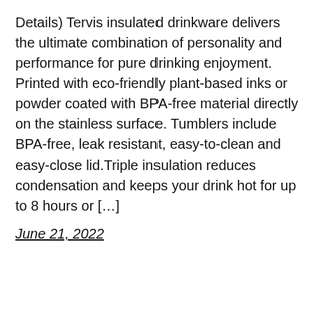Details) Tervis insulated drinkware delivers the ultimate combination of personality and performance for pure drinking enjoyment. Printed with eco-friendly plant-based inks or powder coated with BPA-free material directly on the stainless surface. Tumblers include BPA-free, leak resistant, easy-to-clean and easy-close lid.Triple insulation reduces condensation and keeps your drink hot for up to 8 hours or […]
June 21, 2022